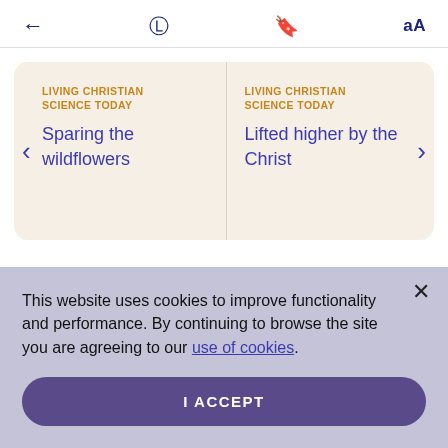← share bookmark aA
LIVING CHRISTIAN SCIENCE TODAY — Sparing the wildflowers | LIVING CHRISTIAN SCIENCE TODAY — Lifted higher by the Christ
This website uses cookies to improve functionality and performance. By continuing to browse the site you are agreeing to our use of cookies.
I ACCEPT